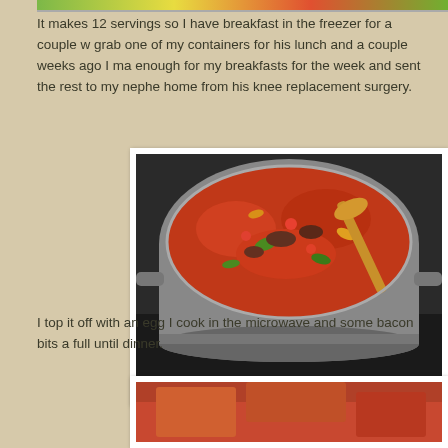[Figure (photo): Top strip showing colorful food image at the top of the page]
It makes 12 servings so I have breakfast in the freezer for a couple w... grab one of my containers for his lunch and a couple weeks ago I ma... enough for my breakfasts for the week and sent the rest to my nephe... home from his knee replacement surgery.
[Figure (photo): A large stainless steel pot filled with a tomato-based meat and vegetable mixture, with a wooden spoon, cooking on a stovetop.]
I top it off with an egg I cook in the microwave and some bacon bits a... full until dinner.
[Figure (photo): Bottom partial photo showing what appears to be a food item on a reddish surface.]